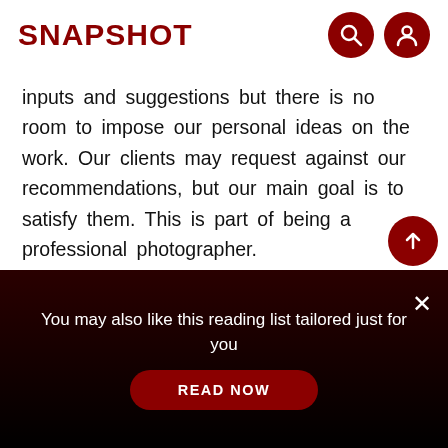SNAPSHOT
inputs and suggestions but there is no room to impose our personal ideas on the work. Our clients may request against our recommendations, but our main goal is to satisfy them. This is part of being a professional photographer.
Supporting factors
Costumes, wardrobes, properties, and pho…
You may also like this reading list tailored just for you
READ NOW